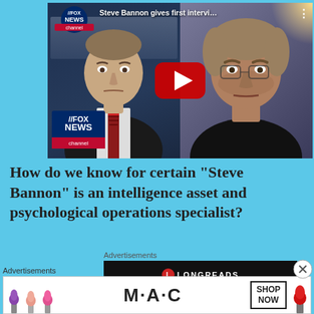[Figure (screenshot): YouTube video thumbnail showing Tucker Carlson on the left and Steve Bannon on the right, with Fox News channel logo and play button overlay. Title reads: Steve Bannon gives first intervi...]
How do we know for certain “Steve Bannon” is an intelligence asset and psychological operations specialist?
Advertisements
[Figure (screenshot): Longreads advertisement banner (dark/black background)]
Advertisements
[Figure (screenshot): MAC cosmetics advertisement showing lipsticks and SHOP NOW button]